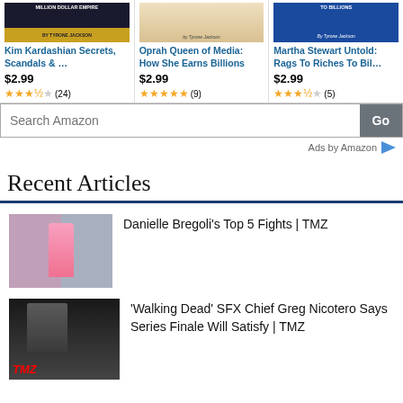[Figure (other): Product card: Kim Kardashian book cover with title, price $2.99, and 3.5 star rating (24 reviews)]
[Figure (other): Product card: Oprah Queen of Media book cover with title, price $2.99, and 5 star rating (9 reviews)]
[Figure (other): Product card: Martha Stewart Untold book cover with title, price $2.99, and 3.5 star rating (5 reviews)]
Search Amazon
Ads by Amazon
Recent Articles
[Figure (photo): Thumbnail for Danielle Bregoli article showing person in pink outfit]
Danielle Bregoli's Top 5 Fights | TMZ
[Figure (photo): Thumbnail for Walking Dead article showing dark figure with TMZ logo]
'Walking Dead' SFX Chief Greg Nicotero Says Series Finale Will Satisfy | TMZ